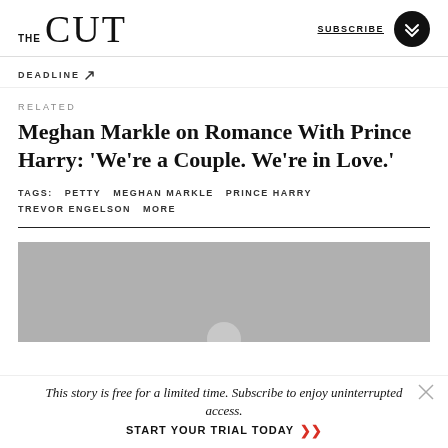THE CUT  SUBSCRIBE
DEADLINE ↗
RELATED
Meghan Markle on Romance With Prince Harry: 'We're a Couple. We're in Love.'
TAGS:  PETTY  MEGHAN MARKLE  PRINCE HARRY  TREVOR ENGELSON  MORE
[Figure (photo): Gray placeholder image area with lighter circle at bottom center]
This story is free for a limited time. Subscribe to enjoy uninterrupted access.  START YOUR TRIAL TODAY ▶▶